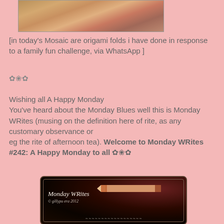[Figure (photo): Partial view of origami folds or colorful image at top of page]
[in today's Mosaic are origami folds i have done in response to a family fun challenge, via WhatsApp ]
✿❀✿
Wishing all A Happy Monday
You've heard about the Monday Blues well this is Monday WRites (musing on the definition here of rite, as any customary observance or
eg the rite of afternoon tea). Welcome to Monday WRites #242: A Happy Monday to all ✿❀✿
[Figure (photo): Chalkboard style image with text 'Monday WRites' and a pencil illustration, copyright gillypu era 2012]